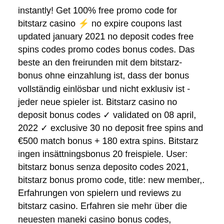instantly! Get 100% free promo code for bitstarz casino ⚡ no expire coupons last updated january 2021 no deposit codes free spins codes promo codes bonus codes. Das beste an den freirunden mit dem bitstarz-bonus ohne einzahlung ist, dass der bonus vollständig einlösbar und nicht exklusiv ist - jeder neue spieler ist. Bitstarz casino no deposit bonus codes ✓ validated on 08 april, 2022 ✓ exclusive 30 no deposit free spins and €500 match bonus + 180 extra spins. Bitstarz ingen insättningsbonus 20 freispiele. User: bitstarz bonus senza deposito codes 2021, bitstarz bonus promo code, title: new member,. Erfahrungen von spielern und reviews zu bitstarz casino. Erfahren sie mehr über die neuesten maneki casino bonus codes, beschwerden, freispiele &amp; angebote. Wir haben bitstarz casino für sie überprüft. Einen bitstarz bonus code werden sie nicht benötigen. Mit dem bitstarz bonus und beim Bitstarz casino d...